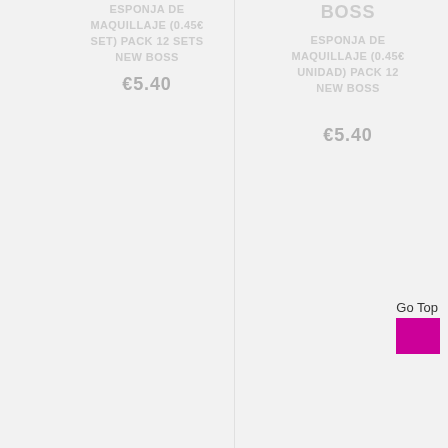ESPONJA DE MAQUILLAJE (0.45€ SET) PACK 12 SETS NEW BOSS
€5.40
BOSS
ESPONJA DE MAQUILLAJE (0.45€ UNIDAD) PACK 12 NEW BOSS
€5.40
Go Top